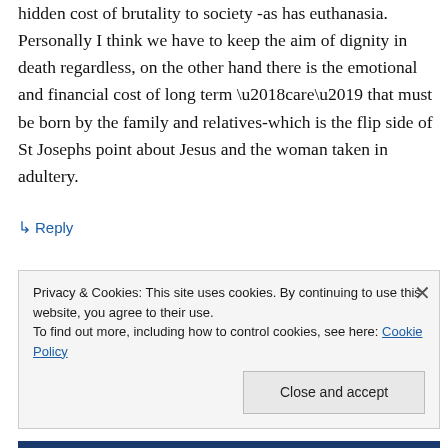hidden cost of brutality to society -as has euthanasia. Personally I think we have to keep the aim of dignity in death regardless, on the other hand there is the emotional and financial cost of long term ‘care’ that must be born by the family and relatives-which is the flip side of St Josephs point about Jesus and the woman taken in adultery.
↳ Reply
Privacy & Cookies: This site uses cookies. By continuing to use this website, you agree to their use.
To find out more, including how to control cookies, see here: Cookie Policy